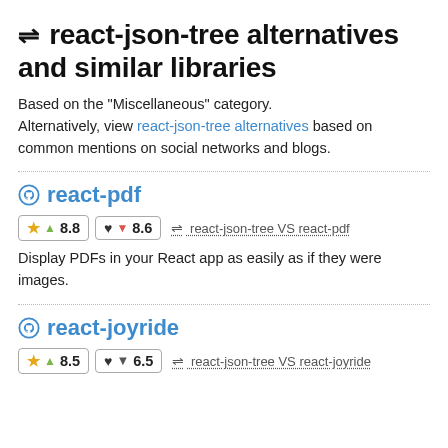⇌ react-json-tree alternatives and similar libraries
Based on the "Miscellaneous" category. Alternatively, view react-json-tree alternatives based on common mentions on social networks and blogs.
react-pdf
★ ▲ 8.8   ♥ ▼ 8.6   ⇌ react-json-tree VS react-pdf
Display PDFs in your React app as easily as if they were images.
react-joyride
★ ▲ 8.5   ♥ 6.5   ⇌ react-json-tree VS react-joyride